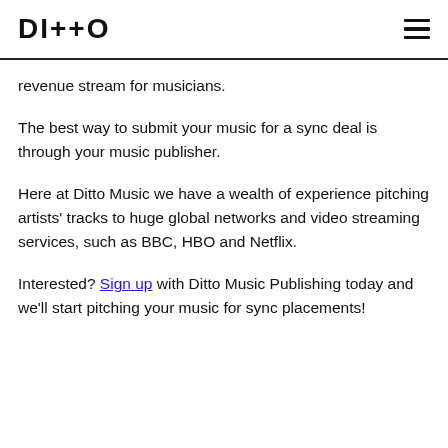DI++O
revenue stream for musicians.
The best way to submit your music for a sync deal is through your music publisher.
Here at Ditto Music we have a wealth of experience pitching artists' tracks to huge global networks and video streaming services, such as BBC, HBO and Netflix.
Interested? Sign up with Ditto Music Publishing today and we'll start pitching your music for sync placements!